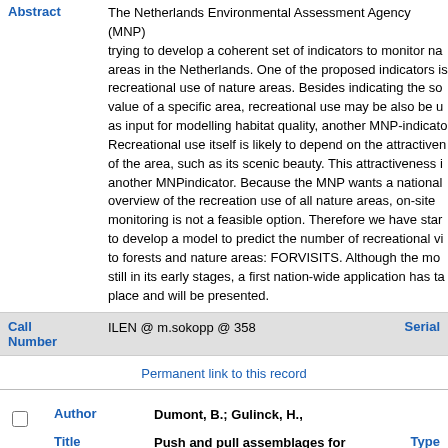Abstract
The Netherlands Environmental Assessment Agency (MNP) is trying to develop a coherent set of indicators to monitor nature areas in the Netherlands. One of the proposed indicators is recreational use of nature areas. Besides indicating the social value of a specific area, recreational use may be also be used as input for modelling habitat quality, another MNP-indicator. Recreational use itself is likely to depend on the attractiveness of the area, such as its scenic beauty. This attractiveness is another MNPindicator. Because the MNP wants a national overview of the recreation use of all nature areas, on-site monitoring is not a feasible option. Therefore we have started to develop a model to predict the number of recreational visits to forests and nature areas: FORVISITS. Although the model is still in its early stages, a first nation-wide application has taken place and will be presented.
Call Number
ILEN @ m.sokopp @ 358
Serial
Permanent link to this record
Author
Dumont, B.; Gulinck, H.,
Title
Push and pull assemblages for modelling visitor's flows in complex landscapes
Type